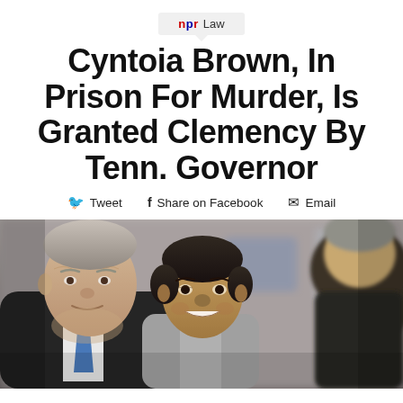npr Law
Cyntoia Brown, In Prison For Murder, Is Granted Clemency By Tenn. Governor
Tweet  Share on Facebook  Email
[Figure (photo): Photo of Cyntoia Brown seated between two older men in a courtroom or hearing setting. Brown, a young woman, is smiling and wearing a gray top. To her left is an older white man in a dark suit with a blue tie. To her right is an older man partially visible. Background shows blurred figures.]